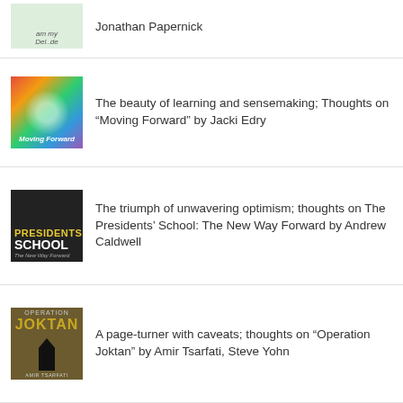[Figure (illustration): Partial book cover thumbnail, greenish tones with handwritten text]
Jonathan Papernick
[Figure (illustration): Book cover for Moving Forward by Jacki Edry, colorful watercolor brain/flower design]
The beauty of learning and sensemaking; Thoughts on “Moving Forward” by Jacki Edry
[Figure (illustration): Book cover for Presidents School: The New Way Forward by Andrew Caldwell, dark background]
The triumph of unwavering optimism; thoughts on The Presidents’ School: The New Way Forward by Andrew Caldwell
[Figure (illustration): Book cover for Operation Joktan by Amir Tsarfati, Steve Yohn, dark cover with silhouette]
A page-turner with caveats; thoughts on “Operation Joktan” by Amir Tsarfati, Steve Yohn
RECENT POSTS
Awakenings by Rabbi Joshua Stanton, Rabbi Benjamin